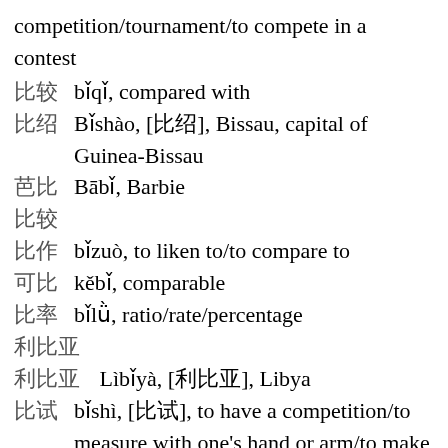competition/tournament/to compete in a contest
比较 bǐqǐ, compared with
比绍 Bǐshào, [比绍], Bissau, capital of Guinea-Bissau
芭比 Bābǐ, Barbie
比较
比作 bǐzuò, to liken to/to compare to
可比 kěbǐ, comparable
比率 bǐlǜ, ratio/rate/percentage
利比亚
利比亚 Lìbǐyà, [利比亚], Libya
比试 bǐshì, [比试], to have a competition/to measure with one's hand or arm/to make a gesture of mea...
比苏
比苏 Bǐsuǒ/bǐsuǒ, Bissau, capital of Guinea-Bissau (Tw), peso (currency in Latin America)...